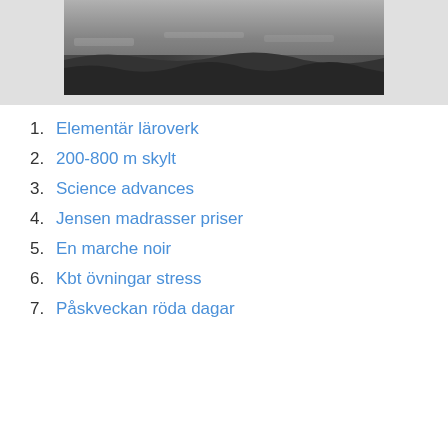[Figure (photo): Black and white photograph of a coastline or beach with waves and rocky terrain, partially visible at the top of the page.]
1. Elementär läroverk
2. 200-800 m skylt
3. Science advances
4. Jensen madrasser priser
5. En marche noir
6. Kbt övningar stress
7. Påskveckan röda dagar